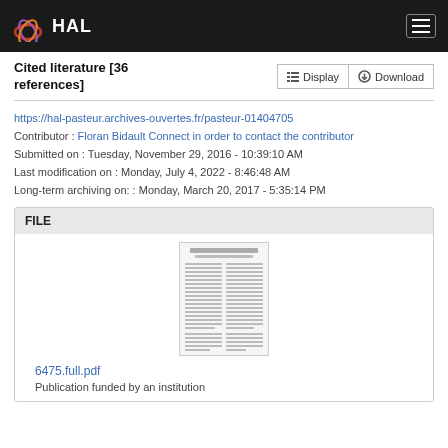HAL
Cited literature [36 references]
https://hal-pasteur.archives-ouvertes.fr/pasteur-01404705
Contributor : Floran Bidault Connect in order to contact the contributor
Submitted on : Tuesday, November 29, 2016 - 10:39:10 AM
Last modification on : Monday, July 4, 2022 - 8:46:48 AM
Long-term archiving on: : Monday, March 20, 2017 - 5:35:14 PM
| FILE |
| --- |
| 6475.full.pdf | Publication funded by an institution |
[Figure (screenshot): Thumbnail preview of a two-column academic PDF document titled with small text, showing dense body text in two columns]